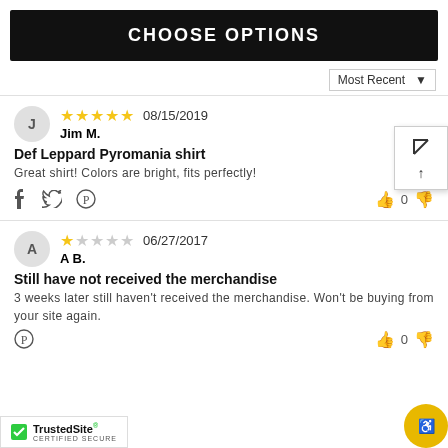CHOOSE OPTIONS
Most Recent ▼
J
Jim M.
★★★★★ 08/15/2019
Def Leppard Pyromania shirt
Great shirt! Colors are bright, fits perfectly!
A
A B.
★☆☆☆☆ 06/27/2017
Still have not received the merchandise
3 weeks later still haven't received the merchandise. Won't be buying from your site again.